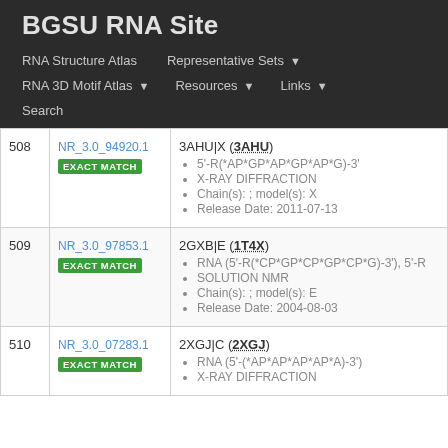BGSU RNA Site
RNA Structure Atlas | Representative Sets | RNA 3D Motif Atlas | Resources | Links | Search
| # | ID | Details |
| --- | --- | --- |
| 508 | NR_3.0_94920.1
EXACT MATCH | 3AHU|X (3AHU)
• 5'-R(*AP*GP*AP*GP*AP*G)-3'
• X-RAY DIFFRACTION
• Chain(s): ; model(s): X
• Release Date: 2011-07-13 |
| 509 | NR_3.0_97853.1
EXACT MATCH | 2GXB|E (1T4X)
• RNA (5'-R(*CP*GP*CP*GP*CP*G)-3'), 5'-R
• SOLUTION NMR
• Chain(s): ; model(s): E
• Release Date: 2004-08-03 |
| 510 | NR_3.0_07283.1
EXACT MATCH | 2XGJ|C (2XGJ)
• RNA (5'-(*AP*AP*AP*AP*A)-3')
• X-RAY DIFFRACTION |